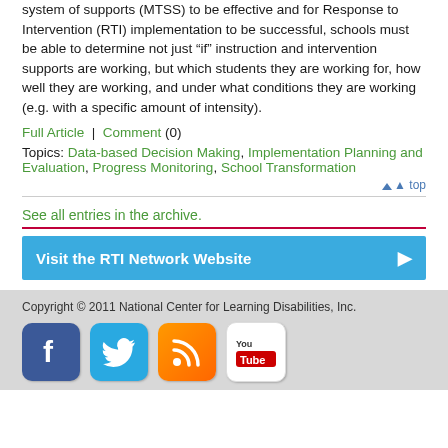system of supports (MTSS) to be effective and for Response to Intervention (RTI) implementation to be successful, schools must be able to determine not just “if” instruction and intervention supports are working, but which students they are working for, how well they are working, and under what conditions they are working (e.g. with a specific amount of intensity).
Full Article | Comment (0)
Topics: Data-based Decision Making, Implementation Planning and Evaluation, Progress Monitoring, School Transformation
top
See all entries in the archive.
Visit the RTI Network Website
Copyright © 2011 National Center for Learning Disabilities, Inc.